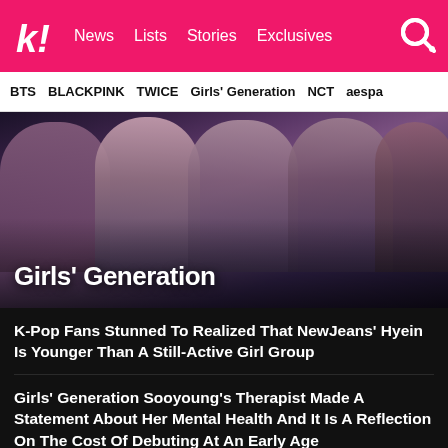k! News  Lists  Stories  Exclusives
BTS  BLACKPINK  TWICE  Girls' Generation  NCT  aespa
[Figure (photo): Group photo of Girls' Generation members in glittery/sparkly outfits with the text 'Girls' Generation' overlaid at the bottom left]
K-Pop Fans Stunned To Realized That NewJeans' Hyein Is Younger Than A Still-Active Girl Group
Girls' Generation Sooyoung's Therapist Made A Statement About Her Mental Health And It Is A Reflection On The Cost Of Debuting At An Early Age
Girls' Generation Were Surprised By Tributes From STAYC, IVE, And Other K-Pop Stars
Aespa Karina's Past Actions Prove She Deserves To Be